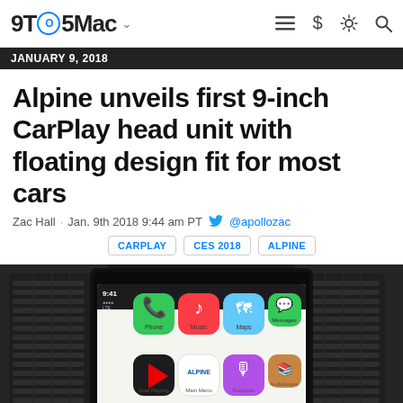9TO5Mac
JANUARY 9, 2018
Alpine unveils first 9-inch CarPlay head unit with floating design fit for most cars
Zac Hall · Jan. 9th 2018 9:44 am PT @apollozac
CARPLAY  CES 2018  ALPINE
[Figure (photo): Photo of an Alpine 9-inch CarPlay head unit installed in a car dashboard, showing the CarPlay interface with Phone, Music, Maps, Messages, Now Playing, Main Menu, Podcasts, and Audiobooks app icons on the screen.]